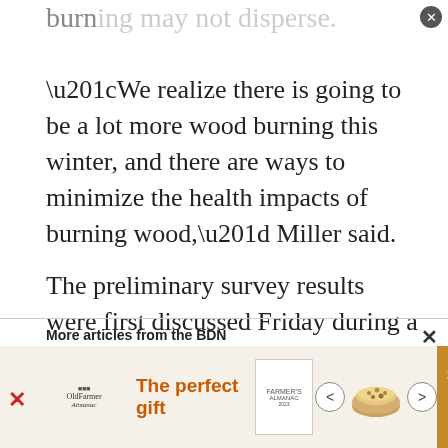burning may not disperse.
“We realize there is going to be a lot more wood burning this winter, and there are ways to minimize the health impacts of burning wood,” Miller said.
The preliminary survey results were first discussed Friday during a panel discussion with health and energy experts hosted by the lung association.
More articles from the BDN
[Figure (other): Advertisement banner: The perfect gift, 35% OFF + FREE SHIPPING]